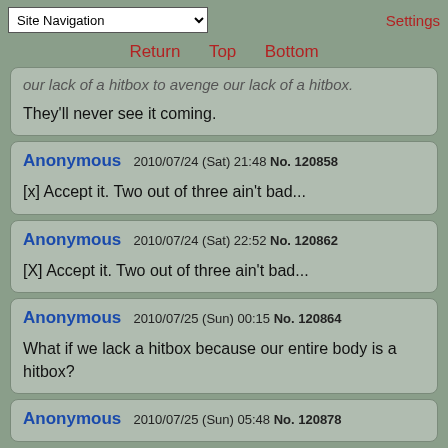Site Navigation | Settings
Return  Top  Bottom
our lack of a hitbox to avenge our lack of a hitbox.

They'll never see it coming.
Anonymous  2010/07/24 (Sat) 21:48  No. 120858

[x] Accept it. Two out of three ain't bad...
Anonymous  2010/07/24 (Sat) 22:52  No. 120862

[X] Accept it. Two out of three ain't bad...
Anonymous  2010/07/25 (Sun) 00:15  No. 120864

What if we lack a hitbox because our entire body is a hitbox?
Anonymous  2010/07/25 (Sun) 05:48  No. 120878